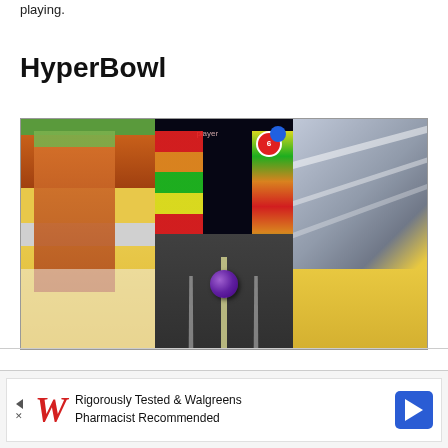playing.
HyperBowl
[Figure (screenshot): HyperBowl game screenshot showing three panels: left panel with cartoon city buildings in yellow and brown, center panel showing a bowling lane through a night city street with a purple bowling ball rolling, right panel showing a stylized racetrack or surface with yellow and grey tones.]
[Figure (infographic): Advertisement banner: Walgreens ad with red W logo, text 'Rigorously Tested & Walgreens Pharmacist Recommended', blue diamond arrow icon on right, play/close buttons on left.]